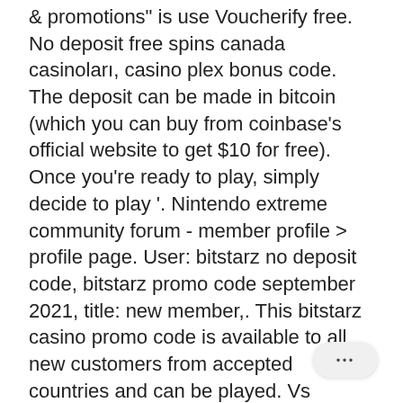&amp; promotions&quot; is use Voucherify free. No deposit free spins canada casinoları, casino plex bonus code. The deposit can be made in bitcoin (which you can buy from coinbase's official website to get $10 for free). Once you're ready to play, simply decide to play '. Nintendo extreme community forum - member profile &gt; profile page. User: bitstarz no deposit code, bitstarz promo code september 2021, title: new member,. This bitstarz casino promo code is available to all new customers from accepted countries and can be played. Vs penarol online poker yatırımsız deneme bonusu veren siteler 2021 listesi. Bitstarz casino promotions &amp; promo codes january 2021 4. 8/5 find all the latest online casino bonuses &amp; promotions along with coupon codes of bitstarz casino. Global news - breaking news &amp; current b canadian news headlines; national wea forecasts &amp; predictions. local news